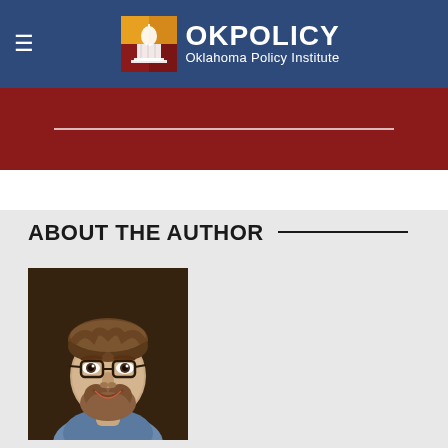[Figure (logo): OKPolicy Oklahoma Policy Institute logo with capitol building icon in colored square, white text on navy background]
[Figure (photo): Author headshot: young man with glasses, beard, smiling, wearing a blue shirt, dark background]
ABOUT THE AUTHOR